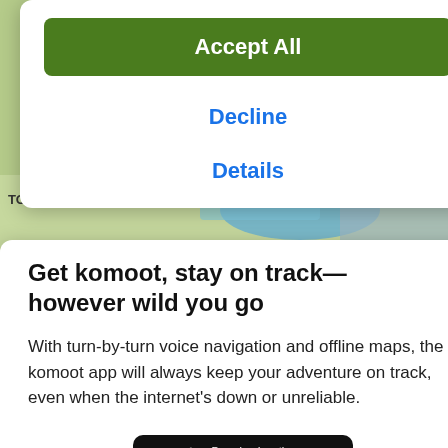Accept All
Decline
Details
Get komoot, stay on track—however wild you go
With turn-by-turn voice navigation and offline maps, the komoot app will always keep your adventure on track, even when the internet's down or unreliable.
Download on the App Store